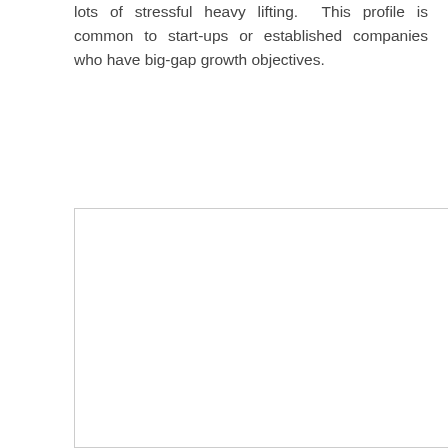lots of stressful heavy lifting.  This profile is common to start-ups or established companies who have big-gap growth objectives.
[Figure (other): Large white rectangular box with a light grey border, appearing to be a placeholder or empty image area.]